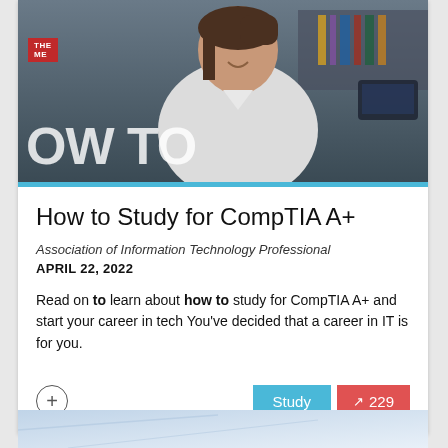[Figure (photo): Hero image of a smiling woman in a white shirt in an office/library setting with large white text 'OW TO' overlay and a red badge in the top-left corner]
How to Study for CompTIA A+
Association of Information Technology Professional
APRIL 22, 2022
Read on to learn about how to study for CompTIA A+ and start your career in tech You've decided that a career in IT is for you.
[Figure (photo): Bottom preview strip of a light blue/white abstract image, partially visible]